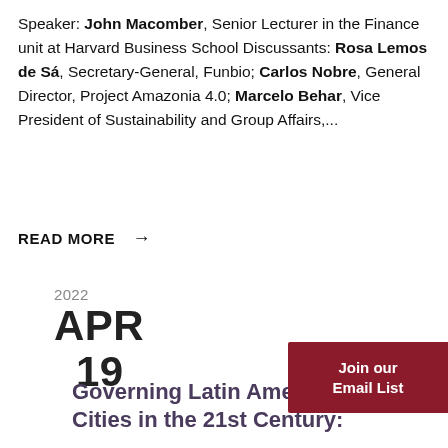Speaker: John Macomber, Senior Lecturer in the Finance unit at Harvard Business School Discussants: Rosa Lemos de Sá, Secretary-General, Funbio; Carlos Nobre, General Director, Project Amazonia 4.0; Marcelo Behar, Vice President of Sustainability and Group Affairs,...
READ MORE →
2022 APR 19
Governing Latin American Cities in the 21st Century: